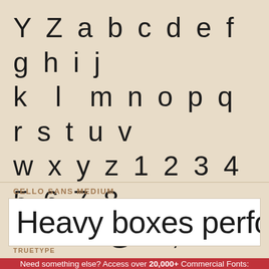Y Z a b c d e f g h i j k l m n o p q r s t u v w x y z 1 2 3 4 5 6 7 8 9 0 & @ . , ? ! ' " " ( ) *
CELLO SANS MEDIUM
Heavy boxes perform qui
TRUETYPE
Need something else? Access over 20,000+ Commercial Fonts: